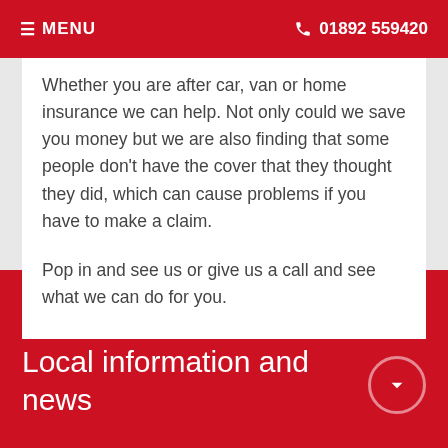≡ MENU  📞 01892 559420
Whether you are after car, van or home insurance we can help. Not only could we save you money but we are also finding that some people don't have the cover that they thought they did, which can cause problems if you have to make a claim.
Pop in and see us or give us a call and see what we can do for you.
Local information and news